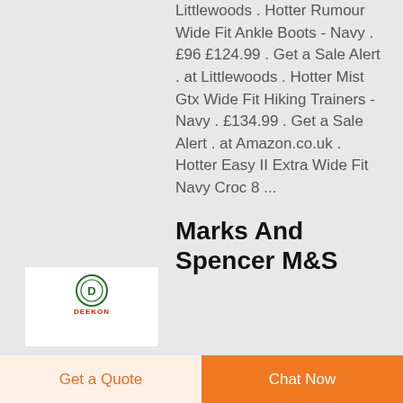Littlewoods . Hotter Rumour Wide Fit Ankle Boots - Navy . £96 £124.99 . Get a Sale Alert . at Littlewoods . Hotter Mist Gtx Wide Fit Hiking Trainers - Navy . £134.99 . Get a Sale Alert . at Amazon.co.uk . Hotter Easy II Extra Wide Fit Navy Croc 8 ...
[Figure (logo): Deekon logo: circular emblem with D in center and red DEEKON text below]
Marks And Spencer M&S